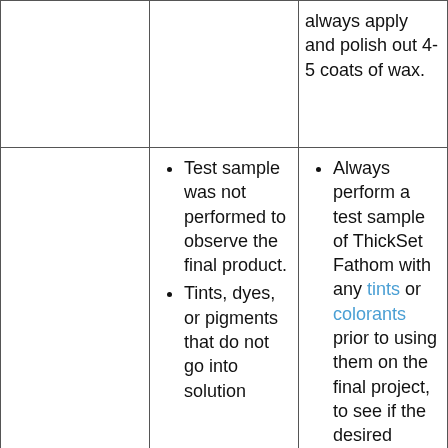|  |  | always apply and polish out 4-5 coats of wax. |
|  | Test sample was not performed to observe the final product.
Tints, dyes, or pigments that do not go into solution | Always perform a test sample of ThickSet Fathom with any tints or colorants prior to using them on the final project, to see if the desired results are achieved |